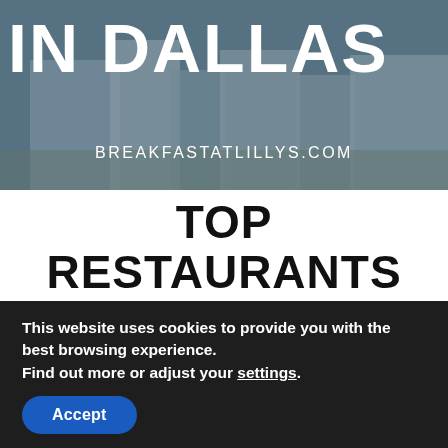[Figure (photo): Aerial photograph of Dallas city skyline with buildings, overlaid with large white bold text 'IN DALLAS' partially cropped at top, and website URL 'BREAKFASTATLILLYS.COM' centered in the lower portion of the image.]
TOP RESTAURANTS IN DALLAS
PLACES TO EAT
Crushcraft //
This was a trip of trying new things for me. One night we had Thai
This website uses cookies to provide you with the best browsing experience.
Find out more or adjust your settings.